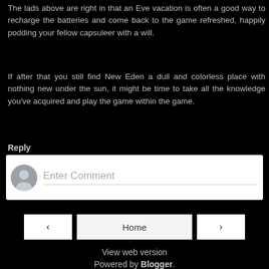The lads above are right in that an Eve vacation is often a good way to recharge the batteries and come back to the game refreshed, happily podding your fellow capsuleer with a will.
If after that you still find New Eden a dull and colorless place with nothing new under the sun, it might be time to take all the knowledge you've acquired and play the game within the game.
Reply
[Figure (screenshot): Comment input box with avatar placeholder and 'Enter Comment' placeholder text]
[Figure (screenshot): Navigation buttons: left arrow, Home, right arrow]
View web version
Powered by Blogger.